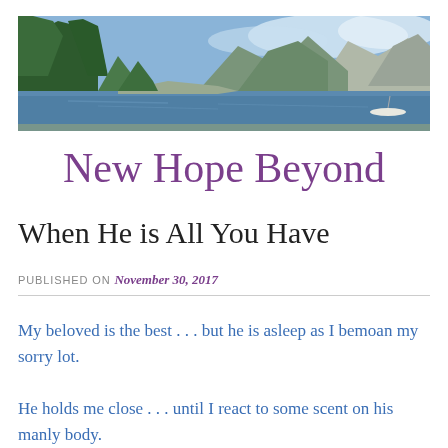[Figure (photo): Panoramic landscape photo showing a lake or river with mountains in the background, trees in the foreground, blue sky with some clouds, and a boat visible on the water.]
New Hope Beyond
When He is All You Have
PUBLISHED ON November 30, 2017
My beloved is the best . . . but he is asleep as I bemoan my sorry lot.
He holds me close . . . until I react to some scent on his manly body.